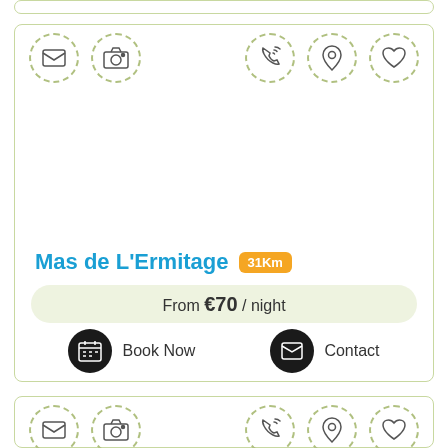[Figure (other): Top partial accommodation listing card showing border only]
[Figure (infographic): Accommodation listing card for Mas de L'Ermitage showing icon row with email, camera, phone, location, heart icons, property photo area (blank), property name 'Mas de L'Ermitage' with 31Km badge, price 'From €70 / night', Book Now and Contact buttons]
Mas de L'Ermitage
31Km
From €70 / night
Book Now
Contact
[Figure (other): Bottom partial accommodation listing card showing icon row with email, camera, phone, location, heart icons]